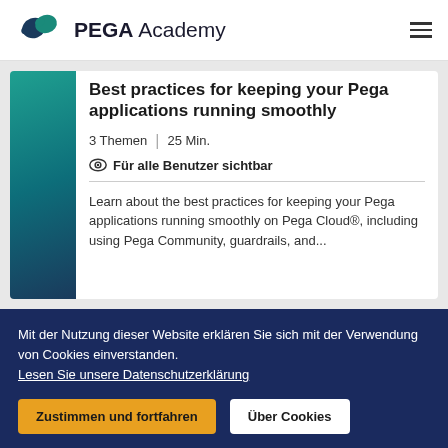PEGA Academy
Best practices for keeping your Pega applications running smoothly
3 Themen | 25 Min.
Für alle Benutzer sichtbar
Learn about the best practices for keeping your Pega applications running smoothly on Pega Cloud®, including using Pega Community, guardrails, and...
Mit der Nutzung dieser Website erklären Sie sich mit der Verwendung von Cookies einverstanden. Lesen Sie unsere Datenschutzerklärung
Zustimmen und fortfahren
Über Cookies